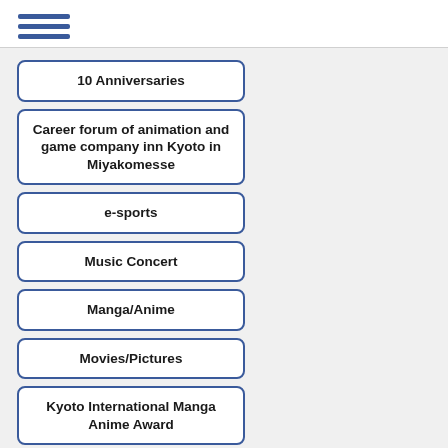Menu
10 Anniversaries
Career forum of animation and game company inn Kyoto in Miyakomesse
e-sports
Music Concert
Manga/Anime
Movies/Pictures
Kyoto International Manga Anime Award
Games
Cross Media
Content Cross Media Seminar